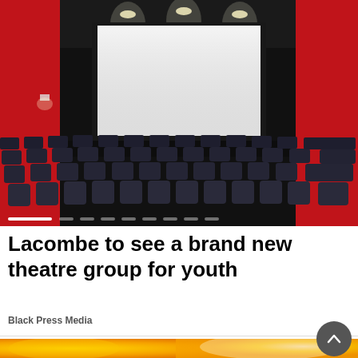[Figure (photo): Interior of a cinema/theatre showing rows of dark seats facing a large white screen with red walls and dramatic lighting]
Lacombe to see a brand new theatre group for youth
Black Press Media
[Figure (photo): Advertisement banner with orange/yellow citrus background and Sims Furniture logo, showing two men on a couch with text 'Bremner Street, Red Deer']